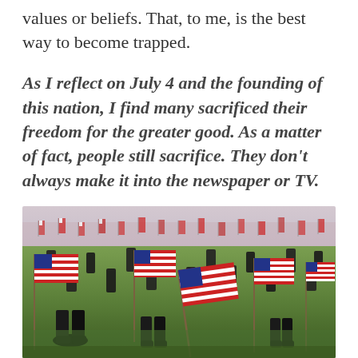values or beliefs. That, to me, is the best way to become trapped.
As I reflect on July 4 and the founding of this nation, I find many sacrificed their freedom for the greater good. As a matter of fact, people still sacrifice. They don't always make it into the newspaper or TV.
[Figure (photo): A field of American flags placed among military boots and grave markers on green grass, representing fallen soldiers and sacrifice.]